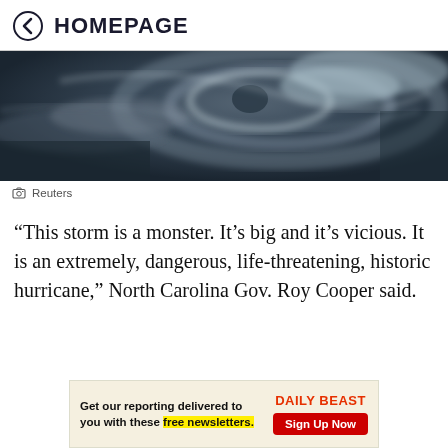HOMEPAGE
[Figure (photo): Satellite aerial image of a hurricane/tropical storm system viewed from above, showing cloud spiral patterns over dark ocean water, in dark blue-grey tones.]
Reuters
“This storm is a monster. It’s big and it’s vicious. It is an extremely, dangerous, life-threatening, historic hurricane,” North Carolina Gov. Roy Cooper said.
[Figure (infographic): Advertisement banner: Get our reporting delivered to you with these free newsletters. Daily Beast - Sign Up Now]